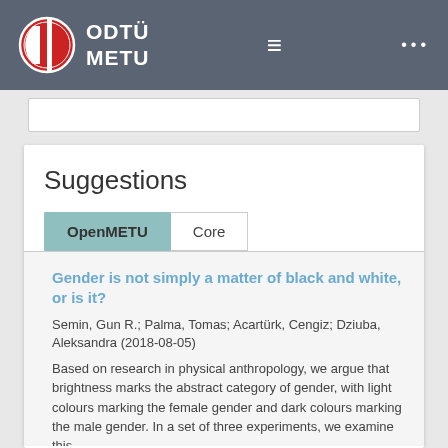[Figure (logo): ODTÜ METU university logo with red and white circular emblem and white text]
ODTÜ METU
Suggestions
OpenMETU | Core
Gender is not simply a matter of black and white, or is it?
Semin, Gun R.; Palma, Tomas; Acartürk, Cengiz; Dziuba, Aleksandra (2018-08-05)
Based on research in physical anthropology, we argue that brightness marks the abstract category of gender, with light colours marking the female gender and dark colours marking the male gender. In a set of three experiments, we examine this